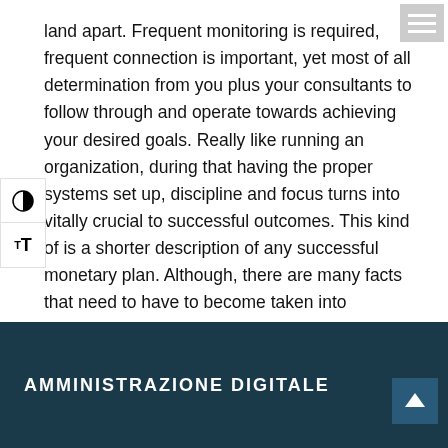land apart. Frequent monitoring is required, frequent connection is important, yet most of all determination from you plus your consultants to follow through and operate towards achieving your desired goals. Really like running an organization, during that having the proper systems set up, discipline and focus turns into vitally crucial to successful outcomes. This kind of is a shorter description of any successful monetary plan. Although, there are many facts that need to have to become taken into consideration, at is important to comprehend the various procedures and how follow through with these steps to help assurance the complishment. For more info examine here www.sicilyst.com .
AMMINISTRAZIONE DIGITALE